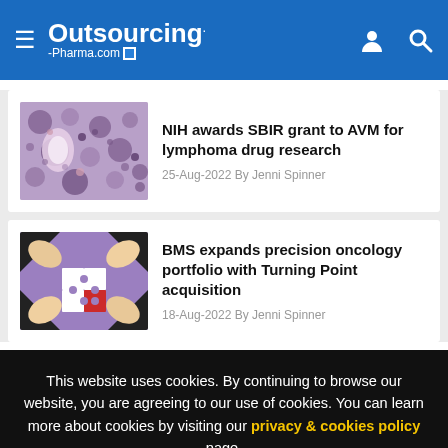Outsourcing-Pharma.com
[Figure (screenshot): Microscope image of lymphoma tissue, purple/pink stained histology slide]
NIH awards SBIR grant to AVM for lymphoma drug research
25-Aug-2022 By Jenni Spinner
[Figure (illustration): Illustration of hands holding puzzle pieces on purple background with a red puzzle piece]
BMS expands precision oncology portfolio with Turning Point acquisition
18-Aug-2022 By Jenni Spinner
This website uses cookies. By continuing to browse our website, you are agreeing to our use of cookies. You can learn more about cookies by visiting our privacy & cookies policy page.